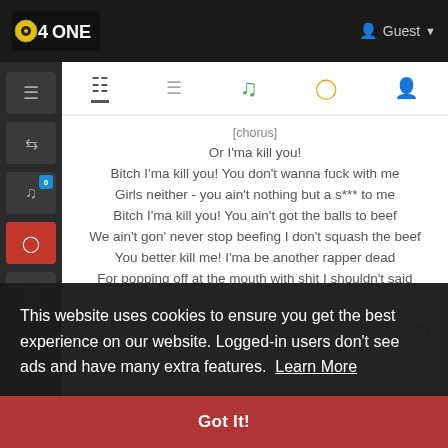Guest
[chorus]
Or I'ma kill you!
Bitch I'ma kill you! You don't wanna fuck with me
Girls neither - you ain't nothing but a s*** to me
Bitch I'ma kill you! You ain't got the balls to beef
We ain't gon' never stop beefing I don't squash the beef
You better kill me! I'ma be another rapper dead
For popping off at the mouth with shit I shouldn't said
But when they kill me - I'm bringing the world with me
This website uses cookies to ensure you get the best experience on our website. Logged-in users don't see ads and have many extra features. Learn More
Got It!